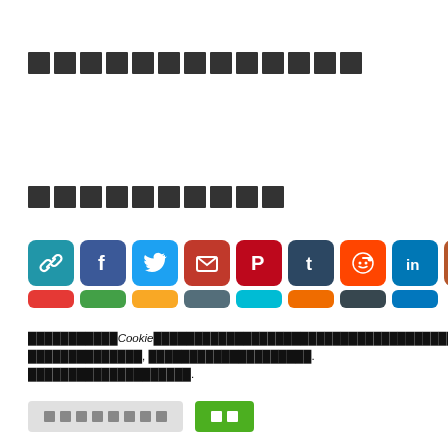█████████████
██████████
[Figure (infographic): Row of social share icon buttons: link, Facebook, Twitter, email, Pinterest, Tumblr, Reddit, LinkedIn, Pocket, and a second partially visible row]
███████████Cookie████████████████████████████████████████████████████████. █████████████, ████████████████████. ████████████████████.
████████ | ██